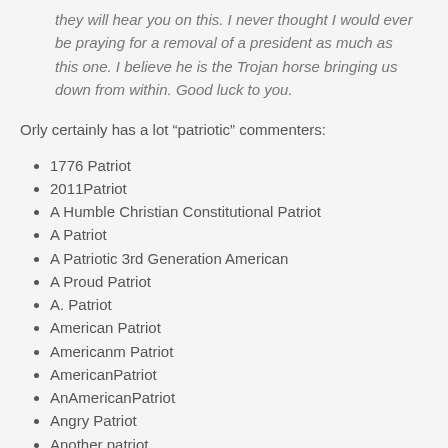they will hear you on this. I never thought I would ever be praying for a removal of a president as much as this one. I believe he is the Trojan horse bringing us down from within. Good luck to you.
Orly certainly has a lot “patriotic” commenters:
1776 Patriot
2011Patriot
A Humble Christian Constitutional Patriot
A Patriot
A Patriotic 3rd Generation American
A Proud Patriot
A. Patriot
American Patriot
Americanm Patriot
AmericanPatriot
AnAmericanPatriot
Angry Patriot
Another patriot